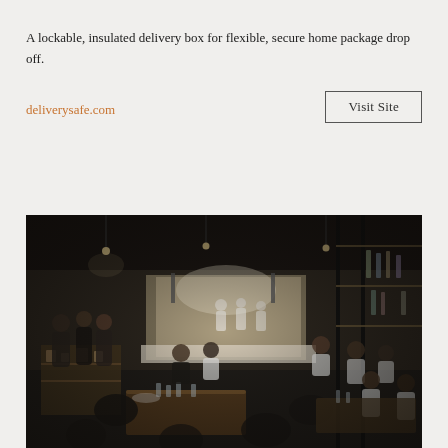A lockable, insulated delivery box for flexible, secure home package drop off.
deliverysafe.com
Visit Site
[Figure (photo): Interior of a dimly lit, modern restaurant with dark decor. Diners are seated at wooden tables with dark chairs. In the background, a bright open kitchen with chefs in white uniforms is visible. The right side shows shelving with bottles and glassware behind glass partitions.]